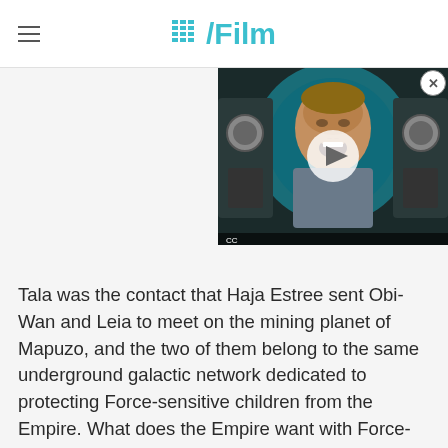/Film
[Figure (screenshot): Video player thumbnail showing a man with an open mouth expression against a teal circular sci-fi background, with a play button overlay]
Tala was the contact that Haja Estree sent Obi-Wan and Leia to meet on the mining planet of Mapuzo, and the two of them belong to the same underground galactic network dedicated to protecting Force-sensitive children from the Empire. What does the Empire want with Force-sensitive